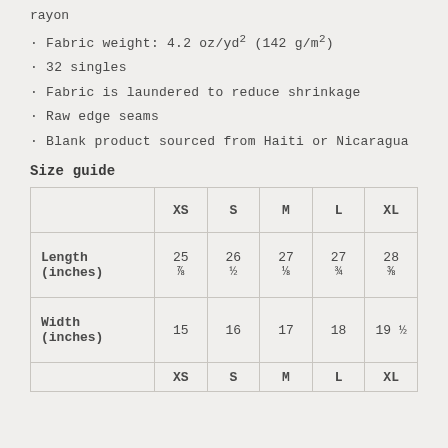rayon
· Fabric weight: 4.2 oz/yd² (142 g/m²)
· 32 singles
· Fabric is laundered to reduce shrinkage
· Raw edge seams
· Blank product sourced from Haiti or Nicaragua
Size guide
|  | XS | S | M | L | XL |
| --- | --- | --- | --- | --- | --- |
| Length (inches) | 25 ⅞ | 26 ½ | 27 ⅛ | 27 ¾ | 28 ⅜ |
| Width (inches) | 15 | 16 | 17 | 18 | 19 ½ |
|  | XS | S | M | L | XL |